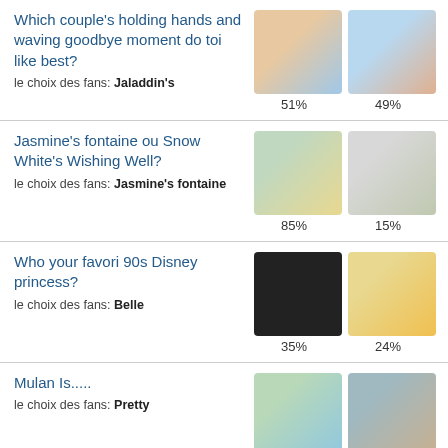Which couple's holding hands and waving goodbye moment do toi like best?
le choix des fans: Jaladdin's
51% / 49%
Jasmine's fontaine ou Snow White's Wishing Well?
le choix des fans: Jasmine's fontaine
85% / 15%
Who your favori 90s Disney princess?
le choix des fans: Belle
35% / 24%
Mulan Is.....
le choix des fans: Pretty
41% / 21%
Pocahontas Is.....
le choix des fans: Beautiful